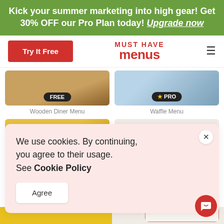Kick your summer marketing into high gear! Get 30% OFF our Pro Plan today! Upgrade now
[Figure (screenshot): MustHaveMenus website navigation bar with 'Try It Free' red button and logo]
[Figure (screenshot): Two menu template thumbnails: 'Wooden Diner Menu' (FREE badge) and 'Waffle Menu' (PRO badge)]
Wooden Diner Menu
Waffle Menu
We use cookies. By continuing, you agree to their usage. See Cookie Policy
[Figure (screenshot): Cookie consent dialog with Agree button and partial menu template visible on right]